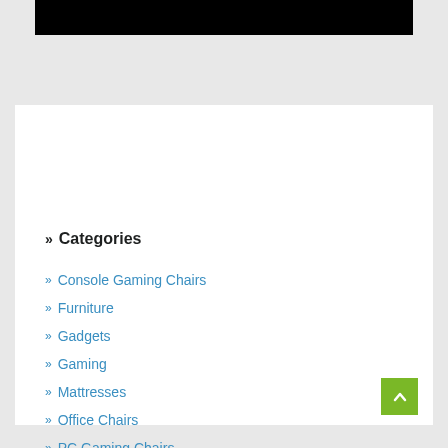[Figure (photo): Black banner image at top of page]
» Categories
» Console Gaming Chairs
» Furniture
» Gadgets
» Gaming
» Mattresses
» Office Chairs
» PC Gaming Chairs
» Web Host